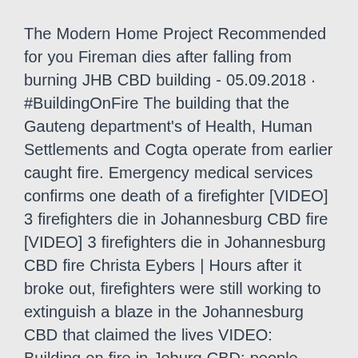The Modern Home Project Recommended for you Fireman dies after falling from burning JHB CBD building - 05.09.2018 · #BuildingOnFire The building that the Gauteng department's of Health, Human Settlements and Cogta operate from earlier caught fire. Emergency medical services confirms one death of a firefighter [VIDEO] 3 firefighters die in Johannesburg CBD fire [VIDEO] 3 firefighters die in Johannesburg CBD fire Christa Eybers | Hours after it broke out, firefighters were still working to extinguish a blaze in the Johannesburg CBD that claimed the lives VIDEO: Building on fire in Joburg CBD; people trapped | eNCA VIDEO: Building on fire in Joburg CBD; people trapped. Thursday 16 August 2018 - 3:01pm JOHANNESBURG - Several people were trapped at the top of a building in